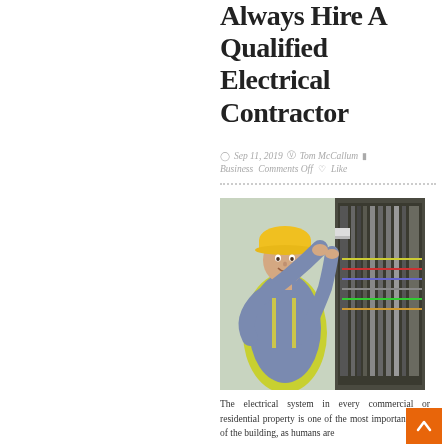Always Hire A Qualified Electrical Contractor
Sep 11, 2019  Tom McCallum  Business  Comments Off  Like
[Figure (photo): An electrician wearing a yellow hard hat and high-visibility vest working on an electrical panel, smiling at the camera]
The electrical system in every commercial or residential property is one of the most important parts of the building, as humans are increasingly reliant on energy-powered devices.